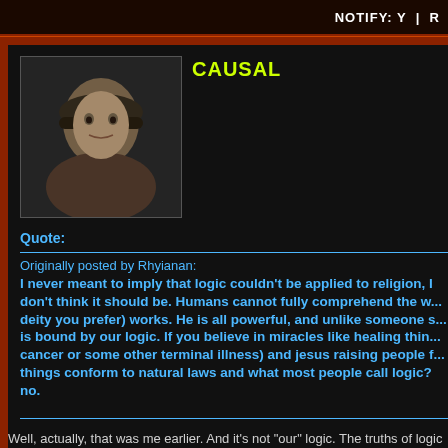NOTIFY: Y  |  R
CAUSAL
[Figure (photo): Profile photo of user CAUSAL - person wearing a hat, close-up portrait]
Quote:
Originally posted by Rhyianan:
I never meant to imply that logic couldn't be applied to religion, I don't think it should be. Humans cannot fully comprehend the w... deity you prefer) works. He is all powerful, and unlike someone s... is bound by our logic. If you believe in miracles like healing thin... cancer or some other terminal illness) and jesus raising people f... things conform to natural laws and what most people call logic? no.
Well, actually, that was me earlier. And it's not "our" logic. The truths of logic ... human being was around to notice them or not. That's the whole point: they'r... them to be false. We don't make our own logic any more than we make our o... anything that we say about it, but in virtue of the fact that that's the way the w... not "our" logic--the fact that one and the same thing can't both exist and not e... virtue of anything we have to say about it, but in virtue of the the fact that tha... think that the rules of logic are what they are because that's the way God is... foundation of logic--some think that all other logic truths can be deduced fro...